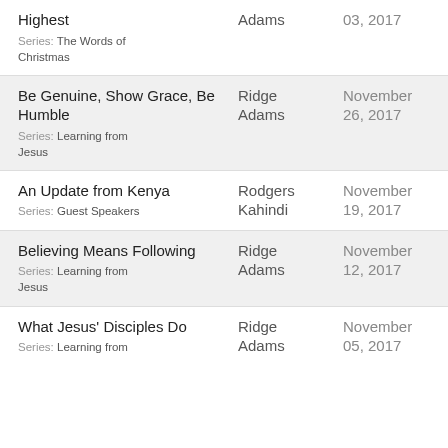Highest | Adams | 03, 2017 | Series: The Words of Christmas
Be Genuine, Show Grace, Be Humble | Ridge Adams | November 26, 2017 | Series: Learning from Jesus
An Update from Kenya | Rodgers Kahindi | November 19, 2017 | Series: Guest Speakers
Believing Means Following | Ridge Adams | November 12, 2017 | Series: Learning from Jesus
What Jesus' Disciples Do | Ridge Adams | November 05, 2017 | Series: Learning from